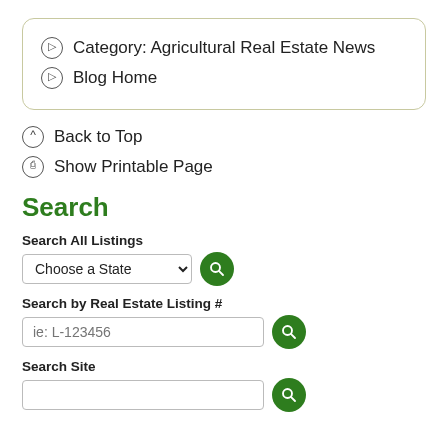Category: Agricultural Real Estate News
Blog Home
Back to Top
Show Printable Page
Search
Search All Listings
Choose a State
Search by Real Estate Listing #
ie: L-123456
Search Site